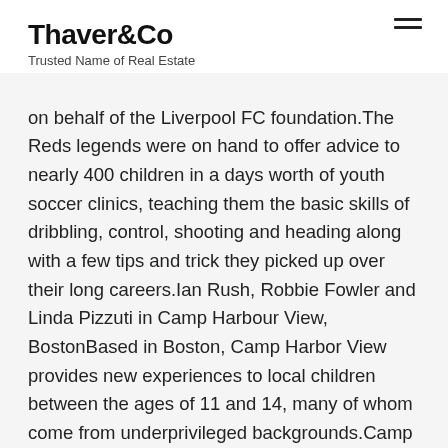Thaver&Co
Trusted Name of Real Estate
on behalf of the Liverpool FC foundation.The Reds legends were on hand to offer advice to nearly 400 children in a days worth of youth soccer clinics, teaching them the basic skills of dribbling, control, shooting and heading along with a few tips and trick they picked up over their long careers.Ian Rush, Robbie Fowler and Linda Pizzuti in Camp Harbour View, BostonBased in Boston, Camp Harbor View provides new experiences to local children between the ages of 11 and 14, many of whom come from underprivileged backgrounds.Camp Director Cara Gould said: “The kids think they are so special because this amazing team that is internationally known and world renowned comes out to spend time with them. It fabulous.”We